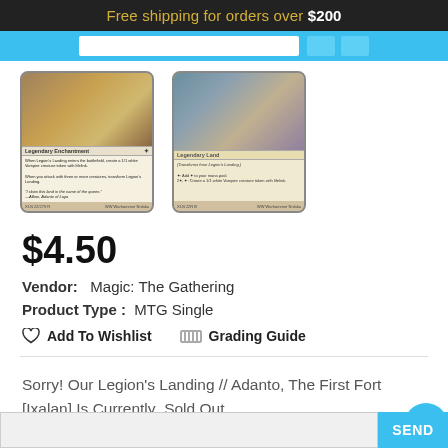Free shipping for orders over $200
[Figure (photo): Two Magic: The Gathering card images shown side by side — Legion's Landing (Legendary Enchantment) on the left and Adanto, The First Fort (Legendary Land) on the right]
$4.50
Vendor:   Magic: The Gathering
Product Type :   MTG Single
Add To Wishlist    Grading Guide
Sorry! Our Legion's Landing // Adanto, The First Fort [Ixalan] Is Currently   Sold Out.